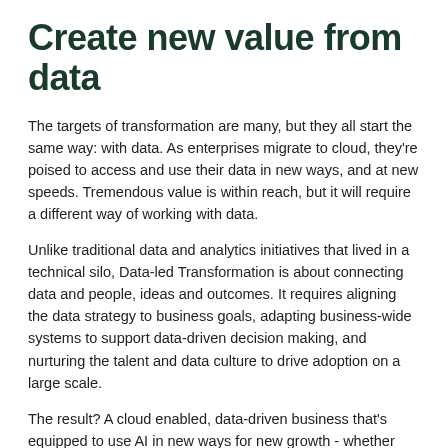Create new value from data
The targets of transformation are many, but they all start the same way: with data. As enterprises migrate to cloud, they're poised to access and use their data in new ways, and at new speeds. Tremendous value is within reach, but it will require a different way of working with data.
Unlike traditional data and analytics initiatives that lived in a technical silo, Data-led Transformation is about connecting data and people, ideas and outcomes. It requires aligning the data strategy to business goals, adapting business-wide systems to support data-driven decision making, and nurturing the talent and data culture to drive adoption on a large scale.
The result? A cloud enabled, data-driven business that's equipped to use AI in new ways for new growth - whether that's improving operational efficiency, delivering more exceptional customer experiences, or creating new revenue streams